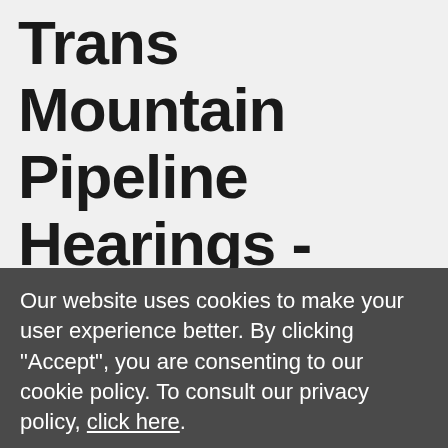Trans Mountain Pipeline Hearings - Available for Interviews and Op-Ed
Our website uses cookies to make your user experience better. By clicking "Accept", you are consenting to our cookie policy. To consult our privacy policy, click here.